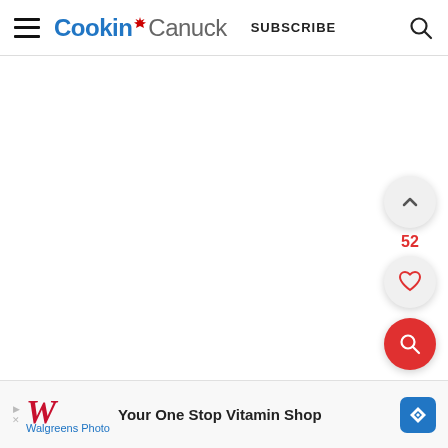Cookin' Canuck | SUBSCRIBE
[Figure (screenshot): Cookin' Canuck website header with hamburger menu, logo, SUBSCRIBE link, and search icon]
[Figure (infographic): Side floating buttons: up chevron button, 52 count, heart/like button, red search button]
[Figure (infographic): Advertisement banner: Walgreens Photo - Your One Stop Vitamin Shop with blue navigation icon]